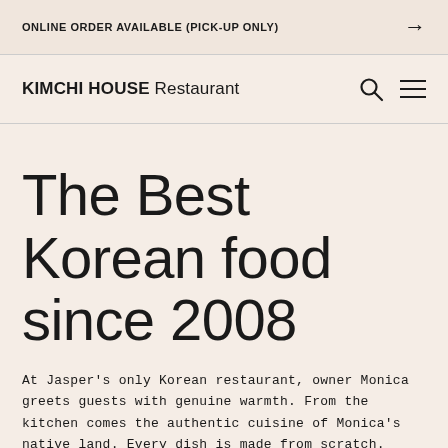ONLINE ORDER AVAILABLE (PICK-UP ONLY) →
KIMCHI HOUSE Restaurant
The Best Korean food since 2008
At Jasper's only Korean restaurant, owner Monica greets guests with genuine warmth. From the kitchen comes the authentic cuisine of Monica's native land. Every dish is made from scratch. Artistically plated selections are served in sizzling pots, cast iron